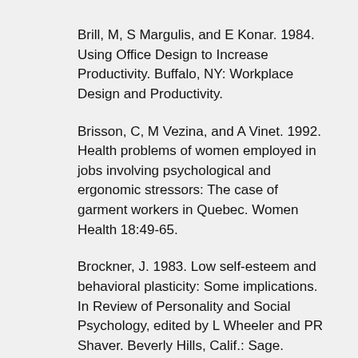Brill, M, S Margulis, and E Konar. 1984. Using Office Design to Increase Productivity. Buffalo, NY: Workplace Design and Productivity.
Brisson, C, M Vezina, and A Vinet. 1992. Health problems of women employed in jobs involving psychological and ergonomic stressors: The case of garment workers in Quebec. Women Health 18:49-65.
Brockner, J. 1983. Low self-esteem and behavioral plasticity: Some implications. In Review of Personality and Social Psychology, edited by L Wheeler and PR Shaver. Beverly Hills, Calif.: Sage.
—. 1988. Self-Esteem At Work. Lexington, Mass: Heath.
Bromet, EJ. 1988. Predictive effects of occupational and marital stress on the mental health of a male workforce. J Organ Behav 9:1-13.